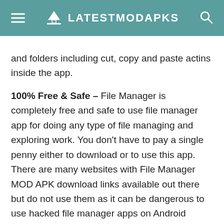LATESTMODAPKS
and folders including cut, copy and paste actins inside the app.
100% Free & Safe – File Manager is completely free and safe to use file manager app for doing any type of file managing and exploring work. You don't have to pay a single penny either to download or to use this app. There are many websites with File Manager MOD APK download links available out there but do not use them as it can be dangerous to use hacked file manager apps on Android devices.
Download File